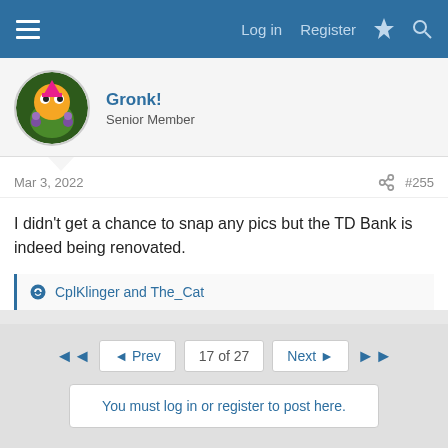Log in  Register
Gronk!
Senior Member
Mar 3, 2022  #255
I didn't get a chance to snap any pics but the TD Bank is indeed being renovated.
CplKlinger and The_Cat
◄◄  ◄ Prev  17 of 27  Next ►  ►►
You must log in or register to post here.
Share: